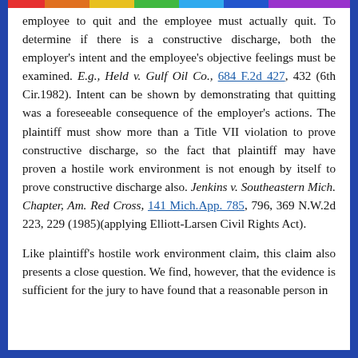employee to quit and the employee must actually quit. To determine if there is a constructive discharge, both the employer's intent and the employee's objective feelings must be examined. E.g., Held v. Gulf Oil Co., 684 F.2d 427, 432 (6th Cir.1982). Intent can be shown by demonstrating that quitting was a foreseeable consequence of the employer's actions. The plaintiff must show more than a Title VII violation to prove constructive discharge, so the fact that plaintiff may have proven a hostile work environment is not enough by itself to prove constructive discharge also. Jenkins v. Southeastern Mich. Chapter, Am. Red Cross, 141 Mich.App. 785, 796, 369 N.W.2d 223, 229 (1985)(applying Elliott-Larsen Civil Rights Act).
Like plaintiff's hostile work environment claim, this claim also presents a close question. We find, however, that the evidence is sufficient for the jury to have found that a reasonable person in